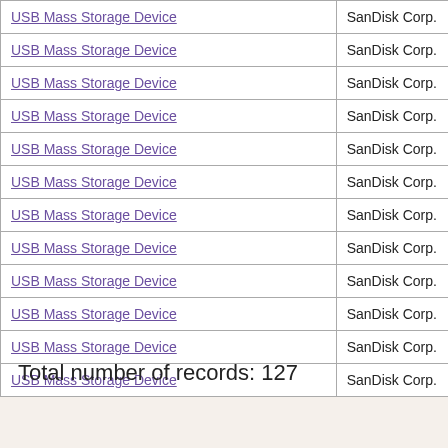| Device Name | Manufacturer |
| --- | --- |
| USB Mass Storage Device | SanDisk Corp. |
| USB Mass Storage Device | SanDisk Corp. |
| USB Mass Storage Device | SanDisk Corp. |
| USB Mass Storage Device | SanDisk Corp. |
| USB Mass Storage Device | SanDisk Corp. |
| USB Mass Storage Device | SanDisk Corp. |
| USB Mass Storage Device | SanDisk Corp. |
| USB Mass Storage Device | SanDisk Corp. |
| USB Mass Storage Device | SanDisk Corp. |
| USB Mass Storage Device | SanDisk Corp. |
| USB Mass Storage Device | SanDisk Corp. |
| USB Mass Storage Device | SanDisk Corp. |
Total number of records: 127